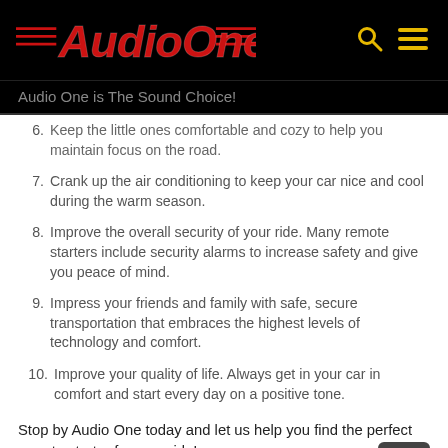[Figure (logo): Audio One logo in red italic script with horizontal red lines on left and right, on black background]
Audio One is The Sound Choice!
6. Keep the little ones comfortable and cozy to help you maintain focus on the road.
7. Crank up the air conditioning to keep your car nice and cool during the warm season.
8. Improve the overall security of your ride. Many remote starters include security alarms to increase safety and give you peace of mind.
9. Impress your friends and family with safe, secure transportation that embraces the highest levels of technology and comfort.
10. Improve your quality of life. Always get in your car in comfort and start every day on a positive tone.
Stop by Audio One today and let us help you find the perfect remote starter for your ride!